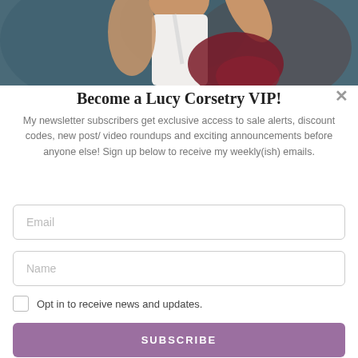[Figure (photo): Photo of a person from the back wearing a white top, arm raised, against a dark grey-blue background. Partial view cropped at the top of the page.]
Become a Lucy Corsetry VIP!
My newsletter subscribers get exclusive access to sale alerts, discount codes, new post/ video roundups and exciting announcements before anyone else! Sign up below to receive my weekly(ish) emails.
Email
Name
Opt in to receive news and updates.
SUBSCRIBE